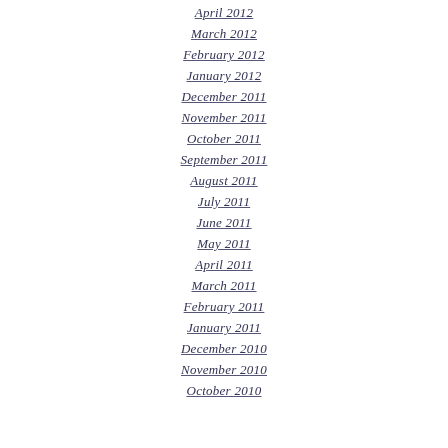April 2012
March 2012
February 2012
January 2012
December 2011
November 2011
October 2011
September 2011
August 2011
July 2011
June 2011
May 2011
April 2011
March 2011
February 2011
January 2011
December 2010
November 2010
October 2010